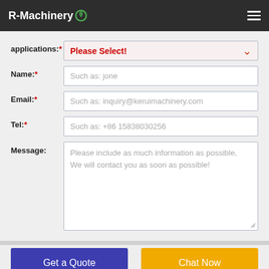R-Machinery
applications: Please Select!
Name: Such as: jone
Email: Such as: inquiry@keruimachinery.com
Tel: Such as: +86 15838030256
Message: Please include as much information as possible, We will contact you as soon as possible!
Get a Quote
Chat Now